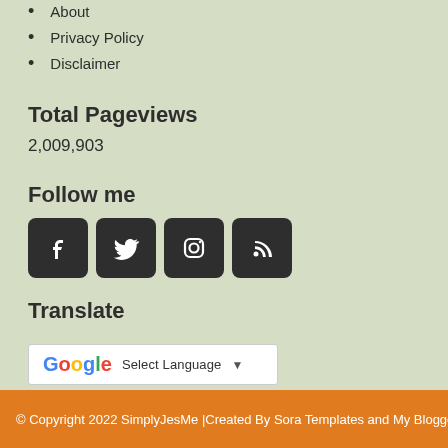About
Privacy Policy
Disclaimer
Total Pageviews
2,009,903
Follow me
[Figure (illustration): Four social media icons: Facebook, Twitter, Instagram, RSS feed — displayed as white icons on dark rounded square buttons]
Translate
[Figure (screenshot): Google Translate widget showing G logo and 'Select Language' dropdown]
© Copyright 2022 SimplyJesMe |Created By Sora Templates and My Blogger